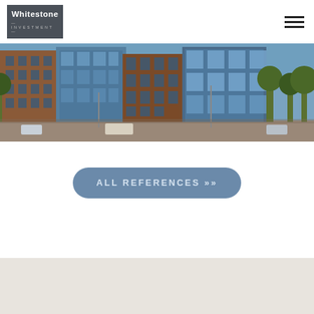[Figure (logo): Whitestone Investment logo — dark grey rectangle with white bold text 'Whitestone' and lighter small caps '— INVESTMENT —']
[Figure (photo): Panoramic street-level photo of modern multi-story commercial/office buildings with glass facades, brick, and trees under a blue sky]
ALL REFERENCES >>
[Figure (other): Light beige/grey footer band at the bottom of the page]